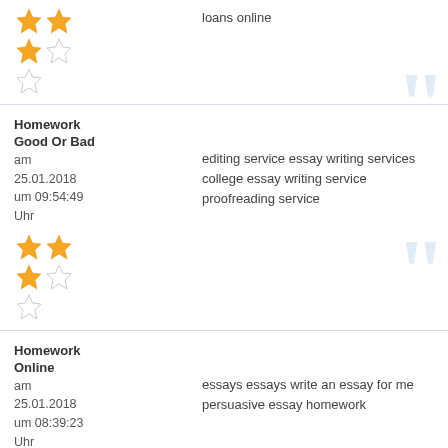[Figure (other): Star rating: 2.5 out of 5 stars (two full gold stars, one half gold star, one empty star)]
loans online
Homework Good Or Bad
am 25.01.2018 um 09:54:49 Uhr
editing service essay writing services college essay writing service proofreading service
[Figure (other): Star rating: 2.5 out of 5 stars (two full gold stars, one half gold star, one empty star)]
Homework Online
am 25.01.2018 um 08:39:23 Uhr
essays essays write an essay for me persuasive essay homework
[Figure (other): Star rating: 2 out of 5 stars (two full gold stars visible, partially cut off)]